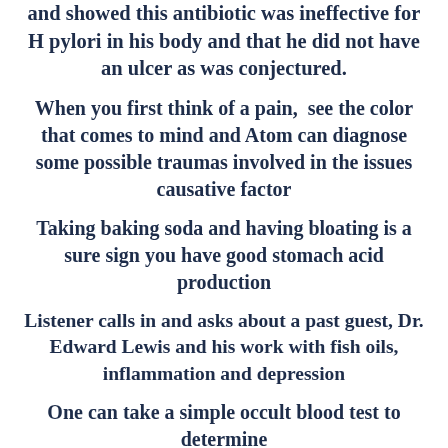and showed this antibiotic was ineffective for H pylori in his body and that he did not have an ulcer as was conjectured.
When you first think of a pain, see the color that comes to mind and Atom can diagnose some possible traumas involved in the issues causative factor
Taking baking soda and having bloating is a sure sign you have good stomach acid production
Listener calls in and asks about a past guest, Dr. Edward Lewis and his work with fish oils, inflammation and depression
One can take a simple occult blood test to determine